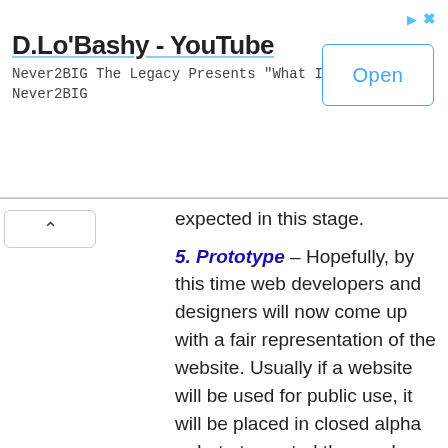[Figure (screenshot): Advertisement banner for D.Lo'Bashy YouTube channel with Open button]
expected in this stage.
5. Prototype – Hopefully, by this time web developers and designers will now come up with a fair representation of the website. Usually if a website will be used for public use, it will be placed in closed alpha or beta to control the number of users. This stage is aimed to gauge the interest of those chosen to test the website.
If everything is good, the website will be going out of closed beta and will now be on open beta stage to test if the website could handle such traffic or if the website could handle thousands of users at the same